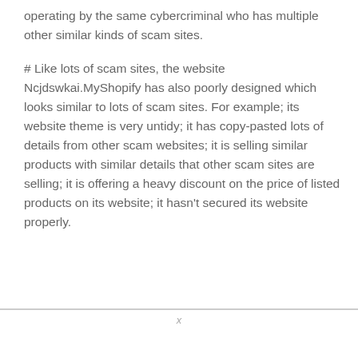operating by the same cybercriminal who has multiple other similar kinds of scam sites.
# Like lots of scam sites, the website Ncjdswkai.MyShopify has also poorly designed which looks similar to lots of scam sites. For example; its website theme is very untidy; it has copy-pasted lots of details from other scam websites; it is selling similar products with similar details that other scam sites are selling; it is offering a heavy discount on the price of listed products on its website; it hasn't secured its website properly.